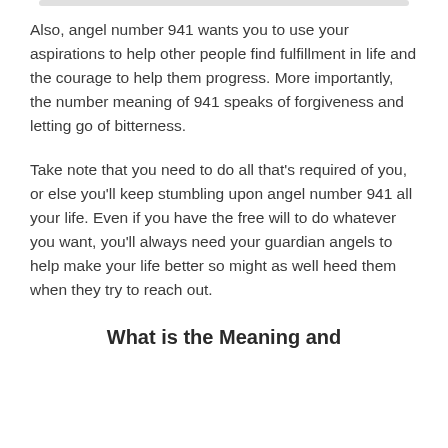Also, angel number 941 wants you to use your aspirations to help other people find fulfillment in life and the courage to help them progress. More importantly, the number meaning of 941 speaks of forgiveness and letting go of bitterness.
Take note that you need to do all that's required of you, or else you'll keep stumbling upon angel number 941 all your life. Even if you have the free will to do whatever you want, you'll always need your guardian angels to help make your life better so might as well heed them when they try to reach out.
What is the Meaning and